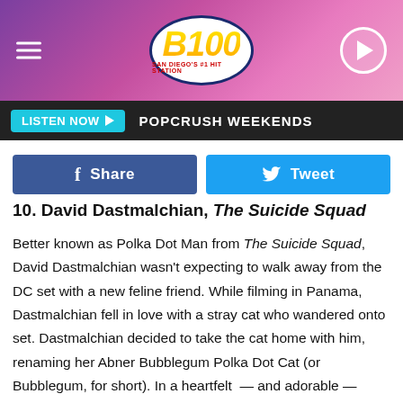[Figure (logo): B100 radio station header banner with pink/purple gradient background, hamburger menu icon on left, B100 oval logo in center, play button circle on right]
LISTEN NOW ▶  POPCRUSH WEEKENDS
Share  Tweet
10. David Dastmalchian, The Suicide Squad
Better known as Polka Dot Man from The Suicide Squad, David Dastmalchian wasn't expecting to walk away from the DC set with a new feline friend. While filming in Panama, Dastmalchian fell in love with a stray cat who wandered onto set. Dastmalchian decided to take the cat home with him, renaming her Abner Bubblegum Polka Dot Cat (or Bubblegum, for short). In a heartfelt  — and adorable — Instagram post, the actor shared several photos of Bubblegum dressed in a Polka Dot Man costume of her very